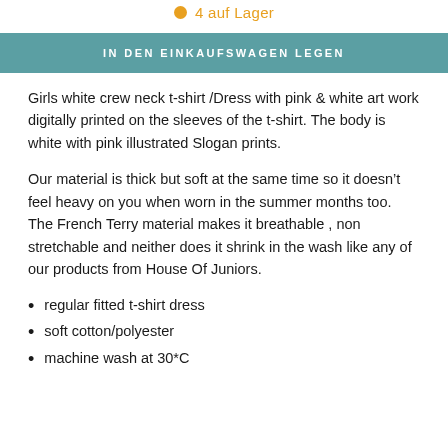4 auf Lager
IN DEN EINKAUFSWAGEN LEGEN
Girls white crew neck t-shirt /Dress with pink & white art work digitally printed on the sleeves of the t-shirt. The body is white with pink illustrated Slogan prints.
Our material is thick but soft at the same time so it doesn’t feel heavy on you when worn in the summer months too. The French Terry material makes it breathable , non stretchable and neither does it shrink in the wash like any of our products from House Of Juniors.
regular fitted t-shirt dress
soft cotton/polyester
machine wash at 30*C